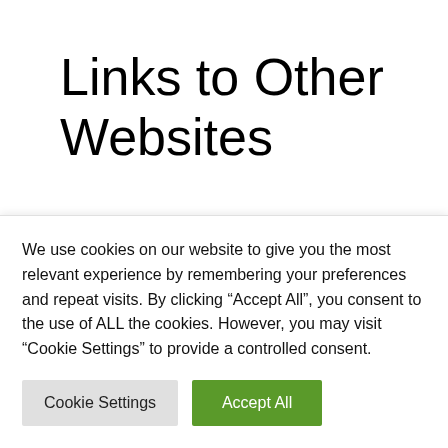Links to Other Websites
Our Service may contain links to other websites that are not operated by Us. If you click on a third party link, you will be directed to that third party's site. We strongly advise you to review the Privacy
We use cookies on our website to give you the most relevant experience by remembering your preferences and repeat visits. By clicking “Accept All”, you consent to the use of ALL the cookies. However, you may visit "Cookie Settings" to provide a controlled consent.